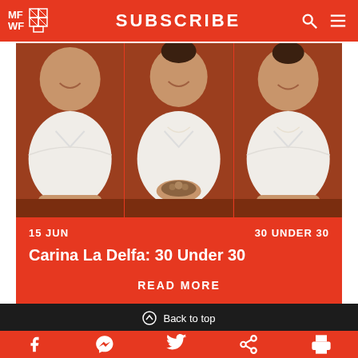MFWF | SUBSCRIBE
[Figure (photo): Three-panel photo strip showing a woman in white chef uniform seated at a table against an orange-red background, smiling, with middle panel showing her holding a small bowl of food.]
15 JUN
30 UNDER 30
Carina La Delfa: 30 Under 30
READ MORE
Back to top
Facebook, Messenger, Twitter, Link, Print social icons